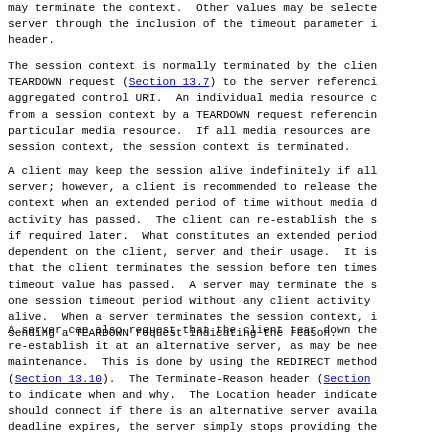may terminate the context.  Other values may be selected server through the inclusion of the timeout parameter i header.
The session context is normally terminated by the clien TEARDOWN request (Section 13.7) to the server referenci aggregated control URI.  An individual media resource c from a session context by a TEARDOWN request referencin particular media resource.  If all media resources are session context, the session context is terminated.
A client may keep the session alive indefinitely if all server; however, a client is recommended to release the context when an extended period of time without media d activity has passed.  The client can re-establish the s if required later.  What constitutes an extended period dependent on the client, server and their usage.  It is that the client terminates the session before ten times timeout value has passed.  A server may terminate the s one session timeout period without any client activity alive.  When a server terminates the session context, i sending a TEARDOWN request indicating the reason.
A server can also request that the client tear down the re-establish it at an alternative server, as may be nee maintenance.  This is done by using the REDIRECT method (Section 13.10).  The Terminate-Reason header (Section to indicate when and why.  The Location header indicate should connect if there is an alternative server availa deadline expires, the server simply stops providing the